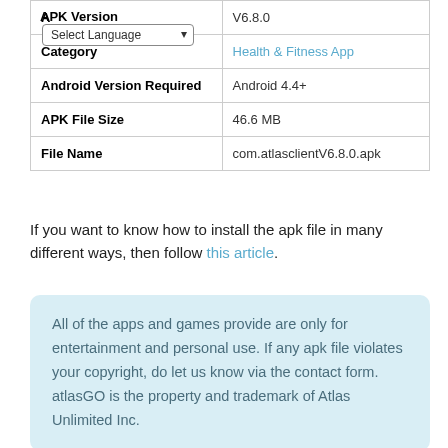| Field | Value |
| --- | --- |
| APK Version | V6.8.0 |
| Category | Health & Fitness App |
| Android Version Required | Android 4.4+ |
| APK File Size | 46.6 MB |
| File Name | com.atlasclientV6.8.0.apk |
If you want to know how to install the apk file in many different ways, then follow this article.
All of the apps and games provide are only for entertainment and personal use. If any apk file violates your copyright, do let us know via the contact form. atlasGO is the property and trademark of Atlas Unlimited Inc.